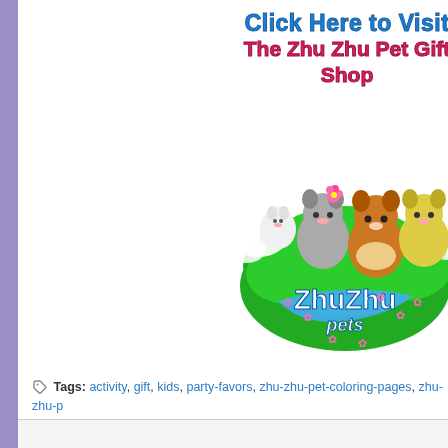[Figure (illustration): Banner advertisement for Zhu Zhu Pet Gift Shop showing text 'Click Here to Visit The Zhu Zhu Pet Gift Shop' above the Zhu Zhu Pets logo with cartoon hamster characters sitting on a green cloud]
Tags: activity, gift, kids, party-favors, zhu-zhu-pet-coloring-pages, zhu-zhu-p... birthday-party, zhu-zhu-pets-coloring-book